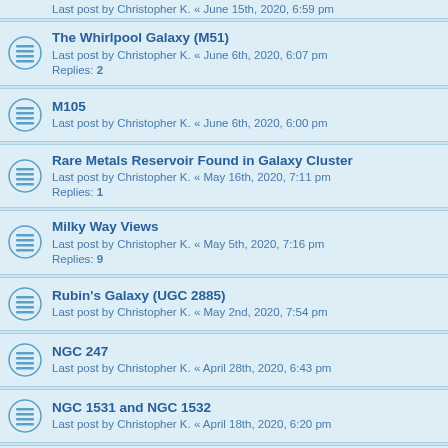Last post by Christopher K. « June 15th, 2020, 6:59 pm
The Whirlpool Galaxy (M51)
Last post by Christopher K. « June 6th, 2020, 6:07 pm
Replies: 2
M105
Last post by Christopher K. « June 6th, 2020, 6:00 pm
Rare Metals Reservoir Found in Galaxy Cluster
Last post by Christopher K. « May 16th, 2020, 7:11 pm
Replies: 1
Milky Way Views
Last post by Christopher K. « May 5th, 2020, 7:16 pm
Replies: 9
Rubin's Galaxy (UGC 2885)
Last post by Christopher K. « May 2nd, 2020, 7:54 pm
NGC 247
Last post by Christopher K. « April 28th, 2020, 6:43 pm
NGC 1531 and NGC 1532
Last post by Christopher K. « April 18th, 2020, 6:20 pm
NGC 2903
Last post by Christopher K. « April 14th, 2020, 5:56 pm
NGC 1672
Last post by Christopher K. « April 7th, 2020, 7:34 pm
Replies: 1
The Milky Way's True Shape